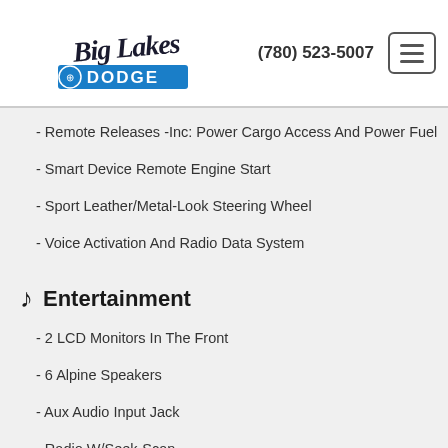Big Lakes Dodge — (780) 523-5007
- Remote Releases -Inc: Power Cargo Access And Power Fuel
- Smart Device Remote Engine Start
- Sport Leather/Metal-Look Steering Wheel
- Voice Activation And Radio Data System
Entertainment
- 2 LCD Monitors In The Front
- 6 Alpine Speakers
- Aux Audio Input Jack
- Radio W/Seek-Scan